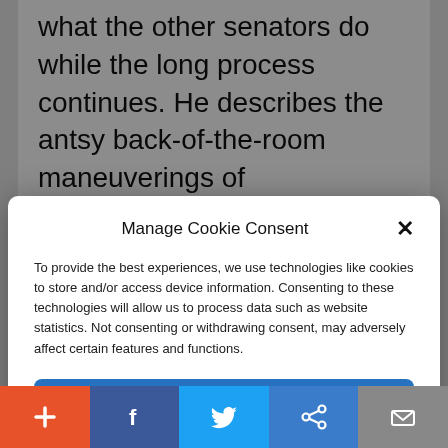what the other senators do while the long process continues. He describes the antsy back-of-the-room maneuverings of
Manage Cookie Consent
To provide the best experiences, we use technologies like cookies to store and/or access device information. Consenting to these technologies will allow us to process data such as website statistics. Not consenting or withdrawing consent, may adversely affect certain features and functions.
Accept
Cookie Policy   Privacy Policy
spectator can handle before the